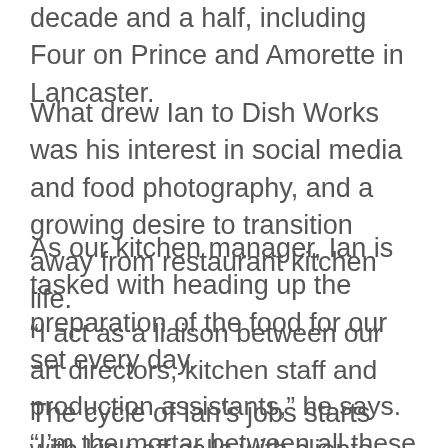decade and a half, including Four on Prince and Amorette in Lancaster.
What drew Ian to Dish Works was his interest in social media and food photography, and a growing desire to transition away from restaurant kitchen life.
As our kitchen manager, Ian is tasked with heading up the preparation of the food for our set every day.
“I act as a liaison between our art directors, kitchen staff and production assistants,” he says. “I’m the mortar between all these working parts of the company.”
The cycle of Ian’s jobs starts with kick-off calls with clients and art directors, and then receiving the scripts with recipes. He works to source and bring in